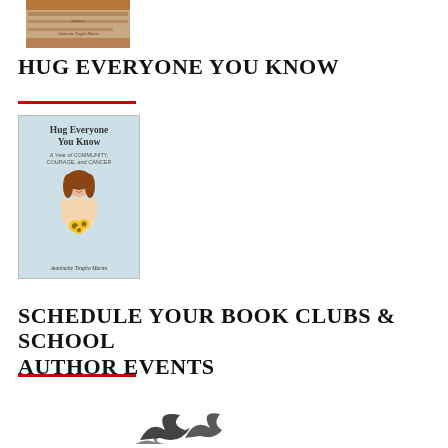[Figure (photo): Partial view of a book with brown/wood-toned spine at top of page]
HUG EVERYONE YOU KNOW
[Figure (illustration): Book cover of 'Hug Everyone You Know: A Year of Community, Courage, and Cancer' by Antoinette Troglio Martin. Light blue cover with illustrated woman with brown hair holding sunflowers.]
SCHEDULE YOUR BOOK CLUBS & SCHOOL AUTHOR EVENTS
[Figure (illustration): Partial decorative bird/floral illustration at bottom of page]